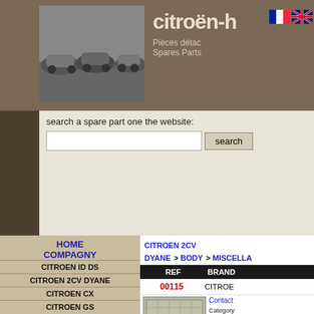[Figure (screenshot): Citroen-HP website header with logo, French and UK flags, and vintage Citroen cars photo]
search a spare part one the website:
search
HOME
COMPAGNY
CITROEN ID DS
CITROEN 2CV DYANE
CITROEN CX
CITROEN GS
CITROEN AMI6 AMI8
OTHER CITROEN
OTHER CAR BRANDS
TREASURE BOX
USED CARS
CONTACT US
LOCATION
CITROEN 2CV DYANE > BODY > MISCELLA
| REF | BRAND |
| --- | --- |
| 00115 | CITROE |
| 00116 | CITROE |
Contact
Category: DYANE